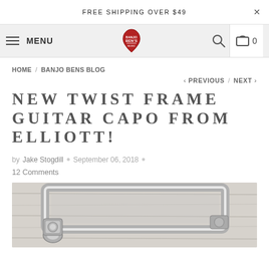FREE SHIPPING OVER $49
MENU
HOME / BANJO BENS BLOG
< PREVIOUS / NEXT >
NEW TWIST FRAME GUITAR CAPO FROM ELLIOTT!
by Jake Stogdill • September 06, 2018 •
12 Comments
[Figure (photo): Metal guitar capo (Elliott twist frame style) on a white wood surface, showing silver chrome frame and mechanism]